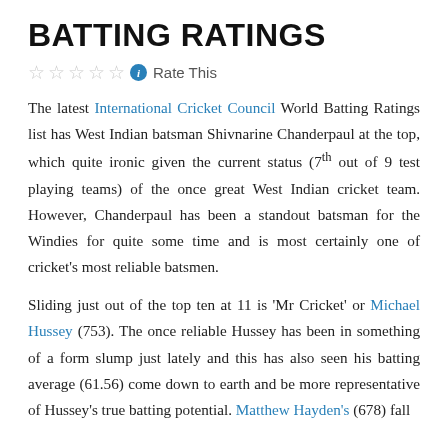BATTING RATINGS
☆☆☆☆☆ ℹ Rate This
The latest International Cricket Council World Batting Ratings list has West Indian batsman Shivnarine Chanderpaul at the top, which quite ironic given the current status (7th out of 9 test playing teams) of the once great West Indian cricket team. However, Chanderpaul has been a standout batsman for the Windies for quite some time and is most certainly one of cricket's most reliable batsmen.
Sliding just out of the top ten at 11 is 'Mr Cricket' or Michael Hussey (753). The once reliable Hussey has been in something of a form slump just lately and this has also seen his batting average (61.56) come down to earth and be more representative of Hussey's true batting potential. Matthew Hayden's (678) fall